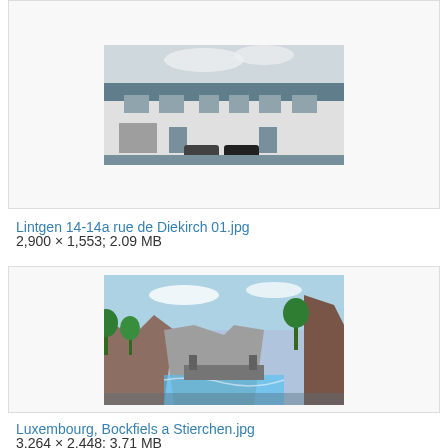[Figure (photo): Partial view of a white building at Lintgen, 14-14a rue de Diekirch — row of white houses with cars parked in front]
Lintgen 14-14a rue de Diekirch 01.jpg
2,900 × 1,553; 2.09 MB
[Figure (photo): Landscape photo of Luxembourg, Bockfiels a Stierchen — rocky cliffs, river, trees in winter]
Luxembourg, Bockfiels a Stierchen.jpg
3,264 × 2,448; 3.71 MB
[Figure (photo): Partial view of a decorative medal or emblem on a red background — white cross design with green center]